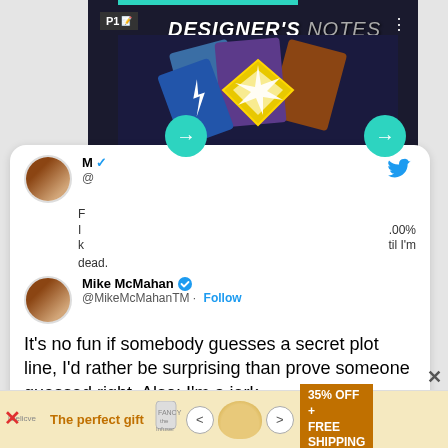[Figure (screenshot): Video thumbnail for Designer's Notes Y7S3 with card game art and teal navigation arrows]
[Figure (screenshot): Twitter/X tweet card showing partial tweet and a quoted tweet by Mike McMahan @MikeMcMahanTM with verified badge and Follow button. Tweet text: It's no fun if somebody guesses a secret plot line, I'd rather be surprising than prove someone guessed right. Also: I'm a jerk.]
[Figure (screenshot): Advertisement banner: The perfect gift, 35% OFF + FREE SHIPPING]